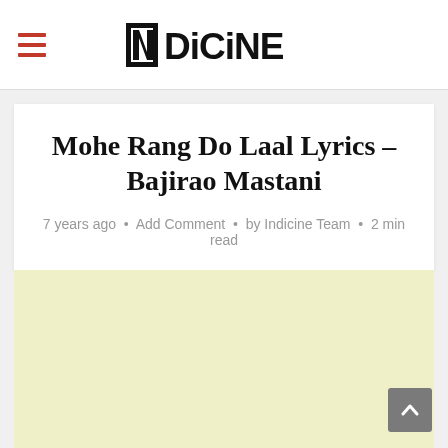INDiCiNE
Mohe Rang Do Laal Lyrics – Bajirao Mastani
7 years ago • Add Comment • by Indicine Team • 2 min read
[Figure (other): Advertisement placeholder area with light yellow background]